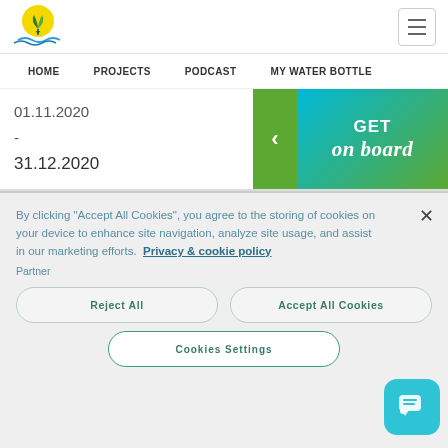[Figure (logo): Organization logo: circular emblem with plant/leaf and water wave, yellow and green colors]
Navigation menu with hamburger icon
HOME   PROJECTS   PODCAST   MY WATER BOTTLE
01.11.2020 - 31.12.2020
[Figure (illustration): Social media icons (Twitter, Facebook, Instagram) and GET on board banner with arrow]
By clicking "Accept All Cookies", you agree to the storing of cookies on your device to enhance site navigation, analyze site usage, and assist in our marketing efforts. Privacy & cookie policy
Partner
Reject All
Accept All Cookies
Cookies Settings